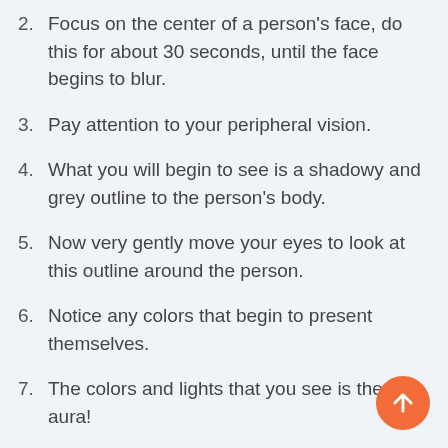2. Focus on the center of a person’s face, do this for about 30 seconds, until the face begins to blur.
3. Pay attention to your peripheral vision.
4. What you will begin to see is a shadowy and grey outline to the person’s body.
5. Now very gently move your eyes to look at this outline around the person.
6. Notice any colors that begin to present themselves.
7. The colors and lights that you see is the aura!
Initially you may just see a single colored aura, but as you gain expertise, you will start seeing